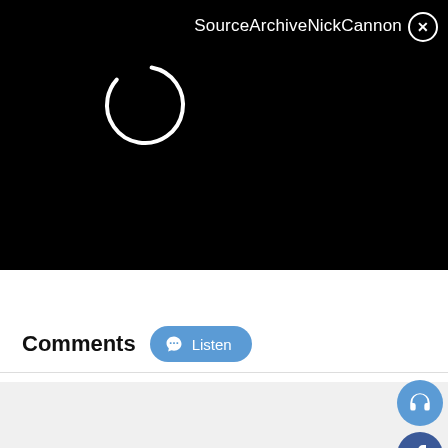[Figure (screenshot): Black video player area with a loading spinner (white circle arc) in the upper left portion. Title 'SourceArchiveNickCannon' displayed in white text upper right. A circular close button (X) in the top right corner.]
SourceArchiveNickCannon
Comments
Listen
[Figure (infographic): Social sharing sidebar icons on the right edge: blue headphones icon, dark blue Facebook icon, light blue Twitter bird icon, green WhatsApp icon, yellow laughing emoji icon, red blob comment icon with speech bubble, partial red share icon at bottom.]